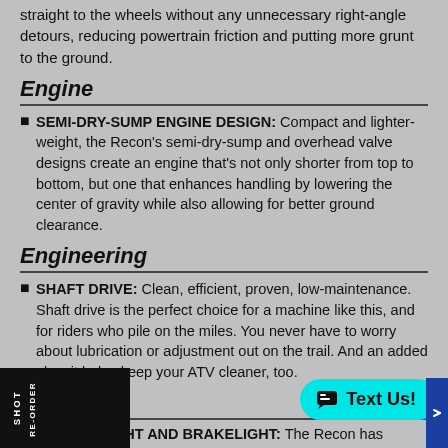straight to the wheels without any unnecessary right-angle detours, reducing powertrain friction and putting more grunt to the ground.
Engine
SEMI-DRY-SUMP ENGINE DESIGN: Compact and lighter-weight, the Recon's semi-dry-sump and overhead valve designs create an engine that's not only shorter from top to bottom, but one that enhances handling by lowering the center of gravity while also allowing for better ground clearance.
Engineering
SHAFT DRIVE: Clean, efficient, proven, low-maintenance. Shaft drive is the perfect choice for a machine like this, and for riders who pile on the miles. You never have to worry about lubrication or adjustment out on the trail. And an added plus: it helps keep your ATV cleaner, too.
rsatility
LED TAILLIGHT AND BRAKELIGHT: The Recon has